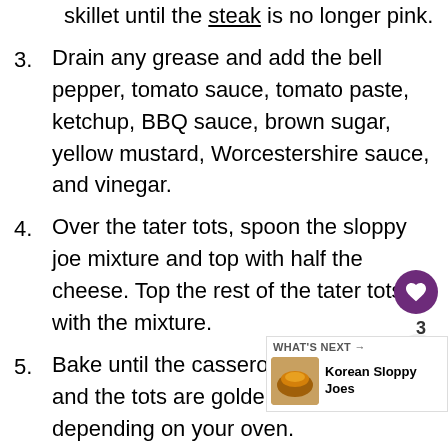skillet until the steak is no longer pink.
3. Drain any grease and add the bell pepper, tomato sauce, tomato paste, ketchup, BBQ sauce, brown sugar, yellow mustard, Worcestershire sauce, and vinegar.
4. Over the tater tots, spoon the sloppy joe mixture and top with half the cheese. Top the rest of the tater tots with the mixture.
5. Bake until the casserole is bubbling and the tots are golden and crispy, depending on your oven.
6. Place the dish back in the oven additional five minutes after adding the